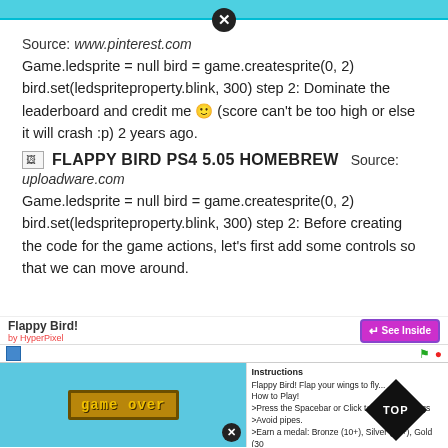Source: www.pinterest.com
Game.ledsprite = null bird = game.creatssprite(0, 2) bird.set(ledspriteproperty.blink, 300) step 2: Dominate the leaderboard and credit me 🙂 (score can't be too high or else it will crash :p) 2 years ago.
[Figure (screenshot): FLAPPY BIRD PS4 5.05 HOMEBREW image placeholder with text label]
Source: uploadware.com
Game.ledsprite = null bird = game.createsprite(0, 2) bird.set(ledspriteproperty.blink, 300) step 2: Before creating the code for the game actions, let's first add some controls so that we can move around.
[Figure (screenshot): Flappy Bird Scratch game screenshot showing game over screen with instructions panel and See Inside button]